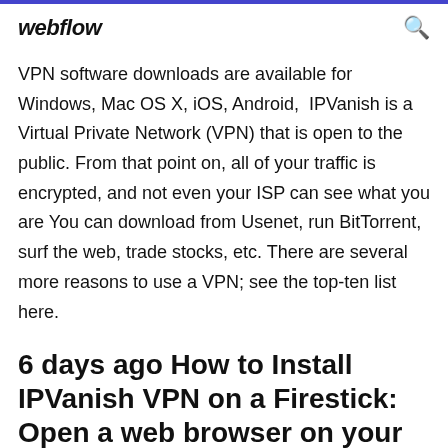webflow
VPN software downloads are available for Windows, Mac OS X, iOS, Android,  IPVanish is a Virtual Private Network (VPN) that is open to the public. From that point on, all of your traffic is encrypted, and not even your ISP can see what you are You can download from Usenet, run BitTorrent, surf the web, trade stocks, etc. There are several more reasons to use a VPN; see the top-ten list here.
6 days ago How to Install IPVanish VPN on a Firestick: Open a web browser on your